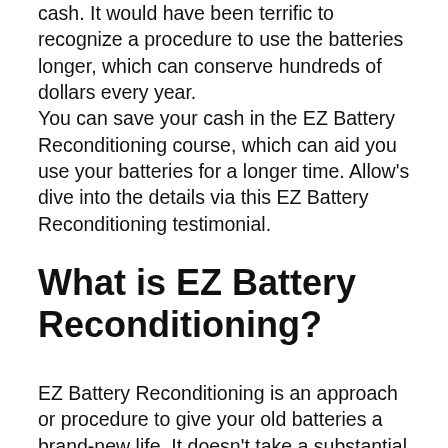cash. It would have been terrific to recognize a procedure to use the batteries longer, which can conserve hundreds of dollars every year.
You can save your cash in the EZ Battery Reconditioning course, which can aid you use your batteries for a longer time. Allow's dive into the details via this EZ Battery Reconditioning testimonial.
What is EZ Battery Reconditioning?
EZ Battery Reconditioning is an approach or procedure to give your old batteries a brand-new life. It doesn't take a substantial time to